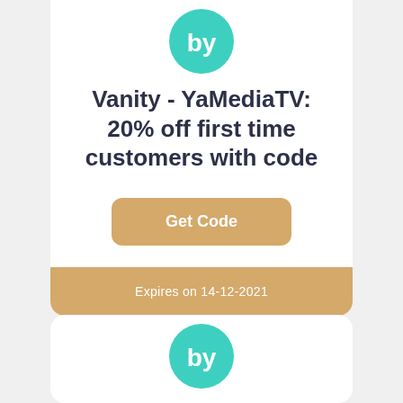[Figure (logo): Teal circular logo with 'by' text in white]
Vanity - YaMediaTV: 20% off first time customers with code
Get Code
Expires on 14-12-2021
[Figure (logo): Teal circular logo with 'by' text in white, partially visible at bottom]